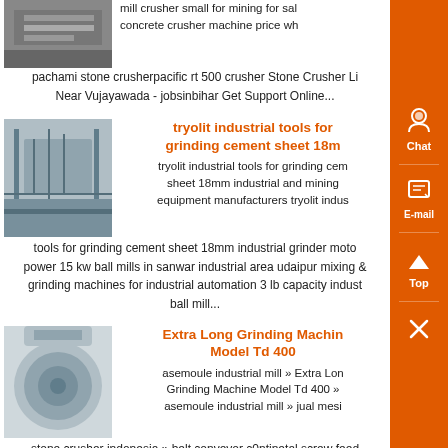[Figure (photo): Industrial crusher/conveyor equipment photo (partial, top of page)]
mill crusher small for mining for sale concrete crusher machine price wh pachami stone crusherpacific rt 500 crusher Stone Crusher Li Near Vujayawada - jobsinbihar Get Support Online...
[Figure (photo): Industrial screening/sorting equipment on elevated platform]
tryolit industrial tools for grinding cement sheet 18mm
tryolit industrial tools for grinding cement sheet 18mm industrial and mining equipment manufacturers tryolit industrial tools for grinding cement sheet 18mm industrial grinder motor power 15 kw ball mills in sanwar industrial area udaipur mixing and grinding machines for industrial automation 3 lb capacity industrial ball mill...
[Figure (photo): Large industrial grinding machine (cylindrical, grey)]
Extra Long Grinding Machine Model Td 400
asemoule industrial mill » Extra Long Grinding Machine Model Td 400 » asemoule industrial mill » jual mesi stone crusher indonesia » belt conveyor c0ntinetal screw feed